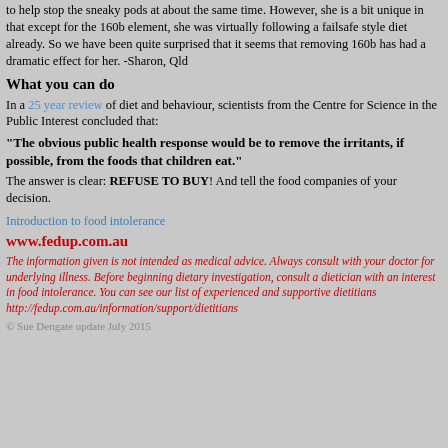to help stop the sneaky pods at about the same time. However, she is a bit unique in that except for the 160b element, she was virtually following a failsafe style diet already. So we have been quite surprised that it seems that removing 160b has had a dramatic effect for her. -Sharon, Qld
What you can do
In a 25 year review of diet and behaviour, scientists from the Centre for Science in the Public Interest concluded that:
"The obvious public health response would be to remove the irritants, if possible, from the foods that children eat."
The answer is clear: REFUSE TO BUY! And tell the food companies of your decision.
Introduction to food intolerance
www.fedup.com.au
The information given is not intended as medical advice. Always consult with your doctor for underlying illness. Before beginning dietary investigation, consult a dietician with an interest in food intolerance. You can see our list of experienced and supportive dietitians http://fedup.com.au/information/support/dietitians
© Sue Dengate update July 2015